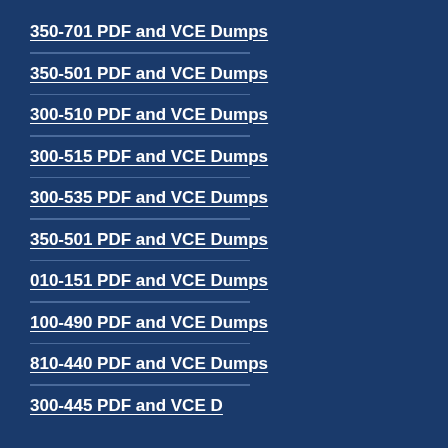350-701 PDF and VCE Dumps
350-501 PDF and VCE Dumps
300-510 PDF and VCE Dumps
300-515 PDF and VCE Dumps
300-535 PDF and VCE Dumps
350-501 PDF and VCE Dumps
010-151 PDF and VCE Dumps
100-490 PDF and VCE Dumps
810-440 PDF and VCE Dumps
300-445 PDF and VCE D...